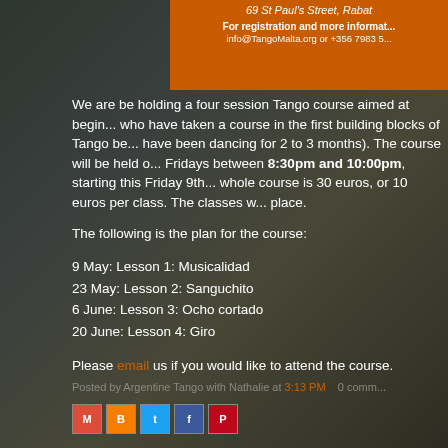69 St Paul's Street, Rabat
For registration and more information: info@TangoMalta.org or +356 7983 5...
We are be holding a four session Tango course aimed at beginners who have taken a course in the first building blocks of Tango be... have been dancing for 2 to 3 months). The course will be held on Fridays between 8:30pm and 10:00pm, starting this Friday 9th... whole course is 30 euros, or 10 euros per class. The classes w... place.
The following is the plan for the course:
9 May: Lesson 1: Musicalidad
23 May: Lesson 2: Sanguchito
6 June: Lesson 3: Ocho cortado
20 June: Lesson 4: Giro
Please email us if you would like to attend the course.
Posted by Argentine Tango with Nathalie at 3:13 PM  0 comm...